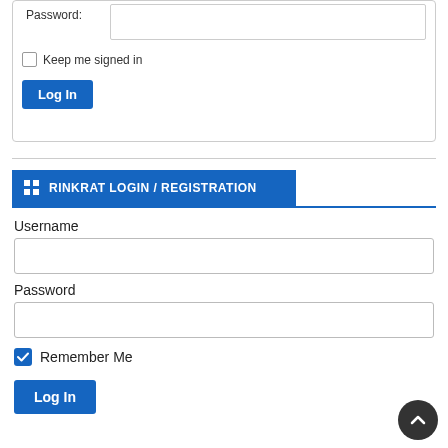Password:
Keep me signed in
[Figure (screenshot): Log In button (blue) in top login form]
RINKRAT LOGIN / REGISTRATION
Username
Password
Remember Me
[Figure (screenshot): Log In button (blue) in Rinkrat login form]